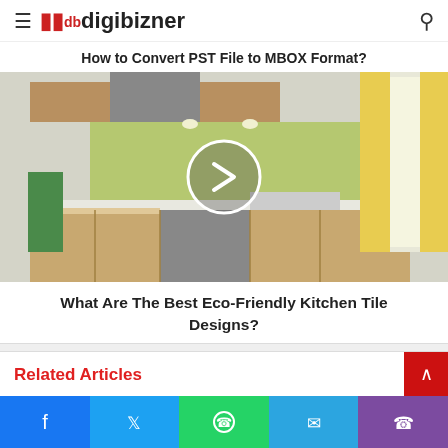digibizner
How to Convert PST File to MBOX Format?
[Figure (photo): Kitchen interior photo with green tile backsplash, wood cabinets, stovetop, and yellow curtains. A circular play button overlay is centered on the image.]
What Are The Best Eco-Friendly Kitchen Tile Designs?
Related Articles